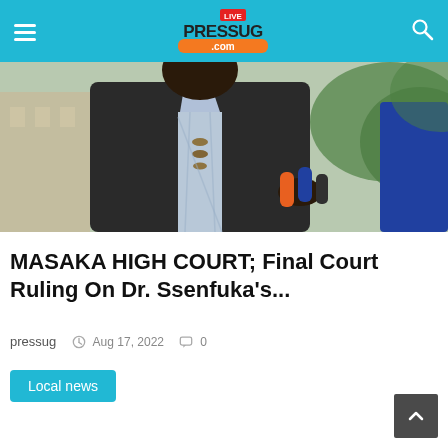pressug LIVE .com — navigation header
[Figure (photo): Person in dark blazer and checkered shirt with bead necklace speaking at a press conference, microphones visible in the foreground, green foliage and building in background]
MASAKA HIGH COURT; Final Court Ruling On Dr. Ssenfuka's...
pressug  Aug 17, 2022  0
Local news